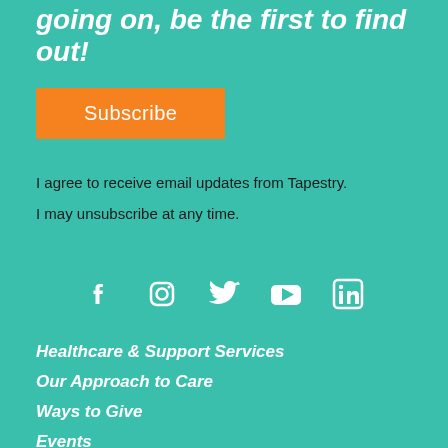going on, be the first to find out!
Subscribe
I agree to receive email updates from Tapestry. I may unsubscribe at any time.
[Figure (illustration): Social media icons: Facebook, Instagram, Twitter, YouTube, LinkedIn]
Healthcare & Support Services
Our Approach to Care
Ways to Give
Events
Reach Out